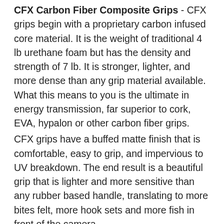CFX Carbon Fiber Composite Grips - CFX grips begin with a proprietary carbon infused core material. It is the weight of traditional 4 lb urethane foam but has the density and strength of 7 lb. It is stronger, lighter, and more dense than any grip material available. What this means to you is the ultimate in energy transmission, far superior to cork, EVA, hypalon or other carbon fiber grips.
CFX grips have a buffed matte finish that is comfortable, easy to grip, and impervious to UV breakdown. The end result is a beautiful grip that is lighter and more sensitive than any rubber based handle, translating to more bites felt, more hook sets and more fish in front of the camera.
Newly Developed Models - Two newly developed spin models in the series, the 7'2" TFXV7220S and the 7'3" TFXV7325S. Both thin diameter, lightweight, fast action and powerful spinning rods. Also two newly developed conventional models - a 6'8" TFXV6815CT and a 6'9" TFXV6920CT. Again these rods are thin diameter, lightweight and powerful, based off the old CGBT841L and ML blanks but with a newer, lighter nanocomposite material